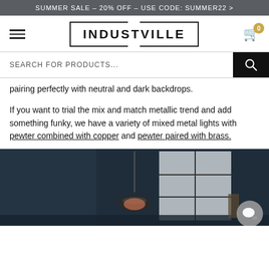SUMMER SALE – 20% OFF – USE CODE: SUMMER22 >
[Figure (screenshot): Industville website navigation bar with hamburger menu, INDUSTVILLE logo in a bordered box, and shopping cart icon with badge showing 0]
[Figure (screenshot): Search bar with placeholder text 'SEARCH FOR PRODUCTS...' and a black search button with magnifying glass icon]
pairing perfectly with neutral and dark backdrops.
If you want to trial the mix and match metallic trend and add something funky, we have a variety of mixed metal lights with pewter combined with copper and pewter paired with brass.
[Figure (photo): Dark room interior with industrial pendant light and window with grid pattern, chat bubble icon in corner]